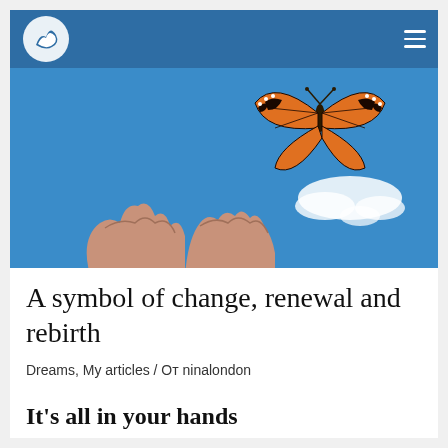ninalondon – navigation header with logo and menu
[Figure (photo): A monarch butterfly flying above two open cupped hands against a blue sky with a white wispy cloud to the right]
A symbol of change, renewal and rebirth
Dreams, My articles / От ninalondon
It's all in your hands